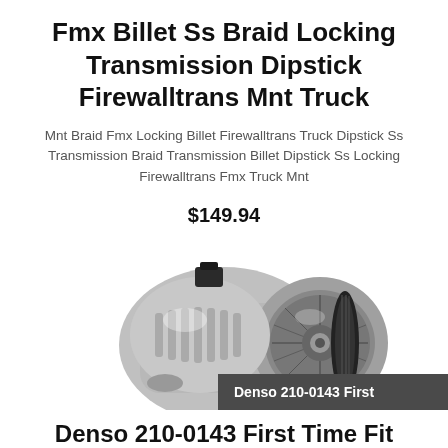Fmx Billet Ss Braid Locking Transmission Dipstick Firewalltrans Mnt Truck
Mnt Braid Fmx Locking Billet Firewalltrans Truck Dipstick Ss Transmission Braid Transmission Billet Dipstick Ss Locking Firewalltrans Fmx Truck Mnt
$149.94
[Figure (photo): Photo of a chrome/silver automotive alternator with black pulley and connector, viewed from the front-left angle]
Denso 210-0143 First
Denso 210-0143 First Time Fit